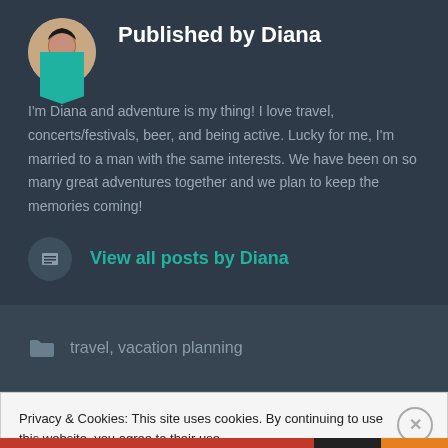Published by Diana
I'm Diana and adventure is my thing! I love travel, concerts/festivals, beer, and being active. Lucky for me, I'm married to a man with the same interests. We have been on so many great adventures together and we plan to keep the memories coming!
View all posts by Diana
travel, vacation planning
Privacy & Cookies: This site uses cookies. By continuing to use this website, you agree to their use.
To find out more, including how to control cookies, see here: Cookie Policy
Close and accept